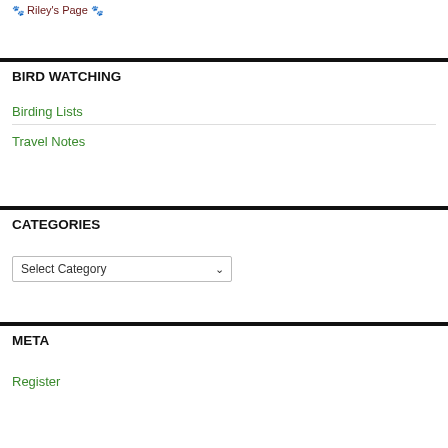🐾 Riley's Page 🐾
BIRD WATCHING
Birding Lists
Travel Notes
CATEGORIES
Select Category
META
Register